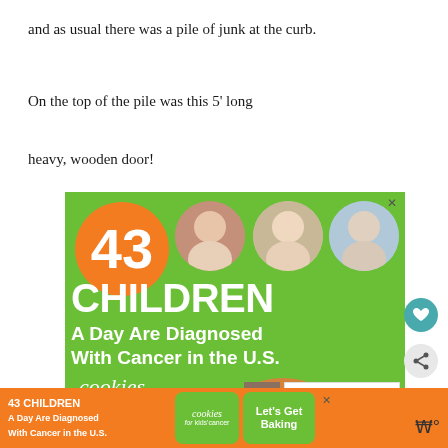and as usual there was a pile of junk at the curb.
On the top of the pile was this 5' long
heavy, wooden door!
[Figure (infographic): Advertisement for 'cookies for kids cancer' charity. Green background with large orange circle containing number 43, three circular photos of children, large white text reading '43 CHILDREN A Day Are Diagnosed With Cancer in the U.S.' and cookies for kids cancer logo with cookie graphic and 'Let's Get Baking' text.]
[Figure (infographic): Bottom banner ad strip repeating the 43 CHILDREN / cookies for kids cancer / Let's Get Baking message on orange and green background.]